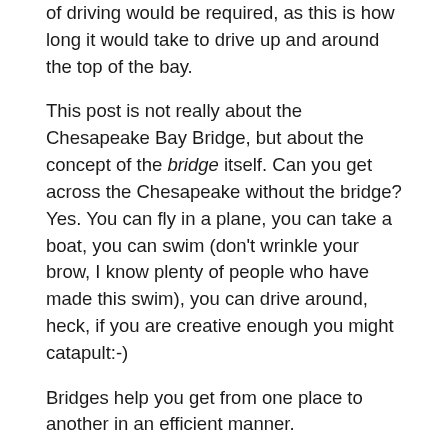of driving would be required, as this is how long it would take to drive up and around the top of the bay.
This post is not really about the Chesapeake Bay Bridge, but about the concept of the bridge itself. Can you get across the Chesapeake without the bridge? Yes. You can fly in a plane, you can take a boat, you can swim (don't wrinkle your brow, I know plenty of people who have made this swim), you can drive around, heck, if you are creative enough you might catapult:-)
Bridges help you get from one place to another in an efficient manner.
Lots of things can serve as bridges. Physical structures, processes, ideas, communication, tools,